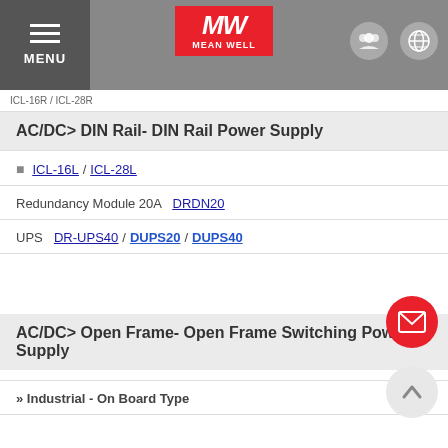MENU | MEAN WELL logo | header icons
ICL-16R / ICL-28R (breadcrumb)
AC/DC> DIN Rail- DIN Rail Power Supply
ICL-16L / ICL-28L
Redundancy Module 20A　DRDN20
UPS　DR-UPS40 / DUPS20 / DUPS40
AC/DC> Open Frame- Open Frame Switching Power Supply
» Industrial - On Board Type